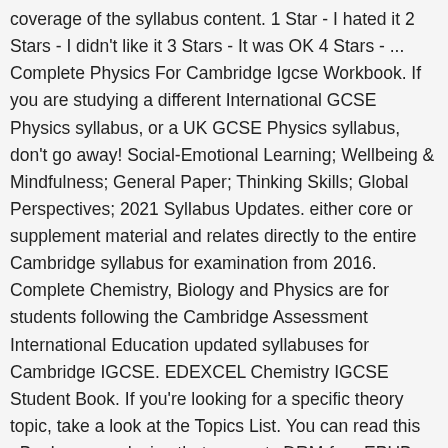coverage of the syllabus content. 1 Star - I hated it 2 Stars - I didn't like it 3 Stars - It was OK 4 Stars - ... Complete Physics For Cambridge Igcse Workbook. If you are studying a different International GCSE Physics syllabus, or a UK GCSE Physics syllabus, don't go away! Social-Emotional Learning; Wellbeing & Mindfulness; General Paper; Thinking Skills; Global Perspectives; 2021 Syllabus Updates. either core or supplement material and relates directly to the entire Cambridge syllabus for examination from 2016. Complete Chemistry, Biology and Physics are for students following the Cambridge Assessment International Education updated syllabuses for Cambridge IGCSE. EDEXCEL Chemistry IGCSE Student Book. If you're looking for a specific theory topic, take a look at the Topics List. You can read this eBook on any device that supports DRM-free EPUB or DRM-free PDF format. Feb 8, 2019 - Free Download Complete Chemistry for Cambridge IGCSE (2nd Edition) written by RoseMarie Gallagher and Paul Ingram; published by Oxford University Press. Buy Cambridge IGCSE Physics Study and Revision Guide 2nd edition